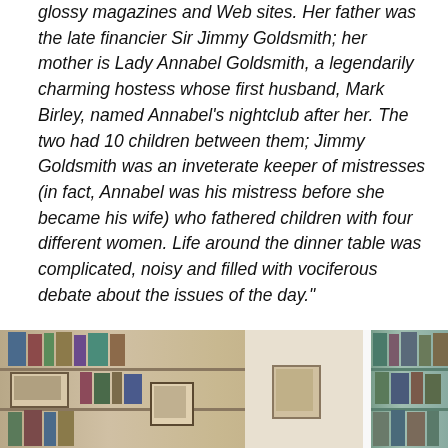glossy magazines and Web sites. Her father was the late financier Sir Jimmy Goldsmith; her mother is Lady Annabel Goldsmith, a legendarily charming hostess whose first husband, Mark Birley, named Annabel's nightclub after her. The two had 10 children between them; Jimmy Goldsmith was an inveterate keeper of mistresses (in fact, Annabel was his mistress before she became his wife) who fathered children with four different women. Life around the dinner table was complicated, noisy and filled with vociferous debate about the issues of the day."
This NYT article celebrates Ms. Kahn as an "unlikely activist."
[Figure (photo): A photo strip showing bookshelves with books and framed pictures, split into two sections with a narrow white gap in between.]